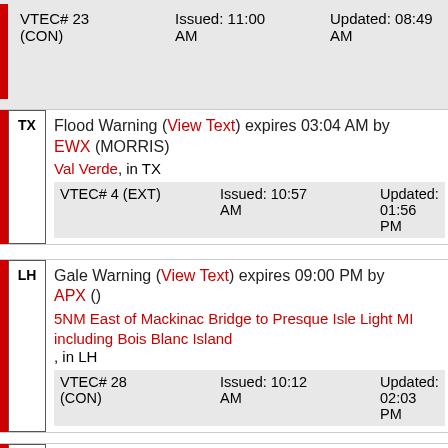VTEC# 23 (CON)   Issued: 11:00 AM   Updated: 08:49 AM
Flood Warning (View Text) expires 03:04 AM by EWX (MORRIS) Val Verde, in TX
VTEC# 4 (EXT)   Issued: 10:57 AM   Updated: 01:56 PM
Gale Warning (View Text) expires 09:00 PM by APX () 5NM East of Mackinac Bridge to Presque Isle Light MI including Bois Blanc Island, in LH
VTEC# 28 (CON)   Issued: 10:12 AM   Updated: 02:03 PM
Flood Warning (View Text) expires 04:46 AM by EWX (MORRIS)